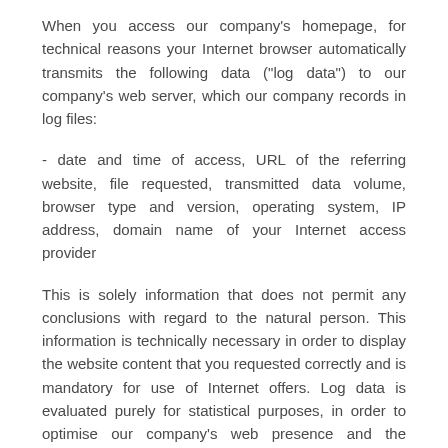When you access our company's homepage, for technical reasons your Internet browser automatically transmits the following data ("log data") to our company's web server, which our company records in log files:
- date and time of access, URL of the referring website, file requested, transmitted data volume, browser type and version, operating system, IP address, domain name of your Internet access provider
This is solely information that does not permit any conclusions with regard to the natural person. This information is technically necessary in order to display the website content that you requested correctly and is mandatory for use of Internet offers. Log data is evaluated purely for statistical purposes, in order to optimise our company's web presence and the underlying technology, and are then deleted.
Log data is stored separately from other data that our